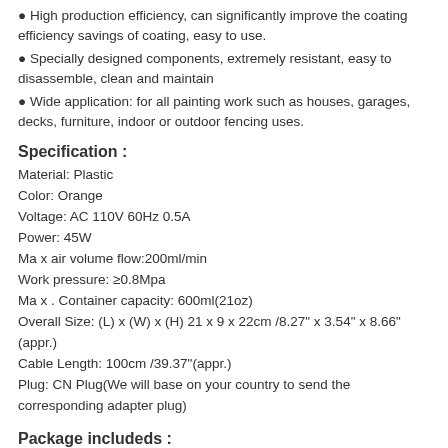● High production efficiency, can significantly improve the coating efficiency savings of coating, easy to use.
● Specially designed components, extremely resistant, easy to disassemble, clean and maintain
● Wide application: for all painting work such as houses, garages, decks, furniture, indoor or outdoor fencing uses.
Specification :
Material: Plastic
Color: Orange
Voltage: AC 110V 60Hz 0.5A
Power: 45W
Ma x air volume flow:200ml/min
Work pressure: ≥0.8Mpa
Ma x . Container capacity: 600ml(21oz)
Overall Size: (L) x (W) x (H) 21 x 9 x 22cm /8.27" x 3.54" x 8.66"(appr.)
Cable Length: 100cm /39.37"(appr.)
Plug: CN Plug(We will base on your country to send the corresponding adapter plug)
Package includeds :
1 x Spray Gun with tank
1 x Measuring cup